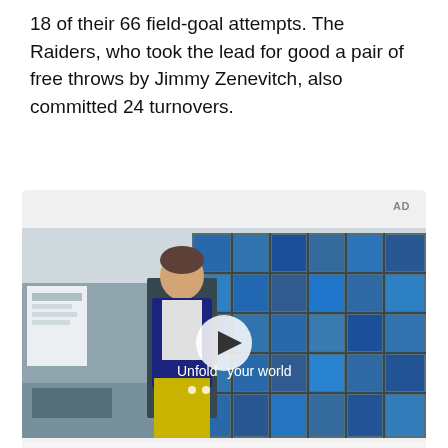18 of their 66 field-goal attempts. The Raiders, who took the lead for good a pair of free throws by Jimmy Zenevitch, also committed 24 turnovers.
[Figure (screenshot): Advertisement: Samsung video ad showing a young man in a denim jacket standing in a restaurant/cafe setting with tiled blue windows in the background. A play button overlay and the text 'Unfold your world' appear on the video thumbnail. Below the image: Samsung logo and tagline 'Bring all your devices into the fold'. Labeled 'AD' in top right corner.]